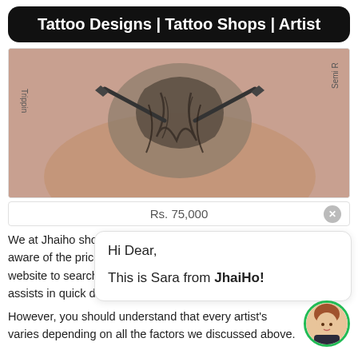Tattoo Designs | Tattoo Shops | Artist
[Figure (photo): Photo of a person's back with a large black and grey tattoo of swords and flowing hair/design, with 'Trippin' text on left edge and 'Semi R' text on right edge.]
Rs. 75,000
We at Jhaiho showcase the d  e aware of the price. While cus website to search for specific  y assists in quick decision making.
Hi Dear,

This is Sara from JhaiHo!
However, you should understand that every artist's  varies depending on all the factors we discussed above.